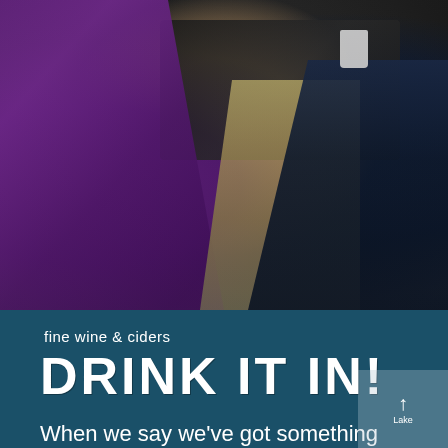[Figure (photo): People sitting at an outdoor table. A woman in a purple dress is prominent on the left, a person in the middle, and someone in a dark denim jacket on the right. A white cup is visible on the table.]
fine wine & ciders
DRINK IT IN!
When we say we've got something special growing in Lake Chelan, we mean it. Our unique climate and glacial soil in the Lake Chelan region create optimal growing conditions, producing some of the best...